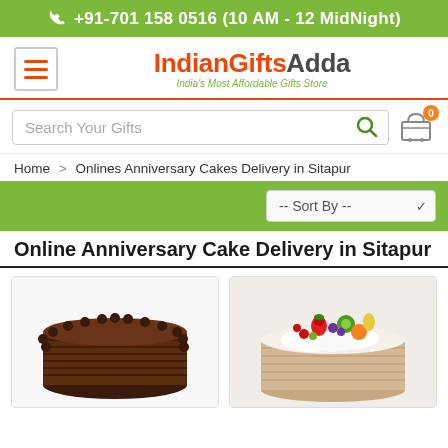+91-701 158 0516 (10 AM - 12 MidNight)
[Figure (logo): IndianGiftsAdda logo with hamburger menu icon and tagline: India's Most Affordable Gifts Store]
Search Your Gifts
Home > Onlines Anniversary Cakes Delivery in Sitapur
-- Sort By --
Online Anniversary Cake Delivery in Sitapur
[Figure (photo): Chocolate cake with piped rosette border, round, viewed from slight angle]
[Figure (photo): White cream cake topped with fresh fruits including strawberries, kiwi, and other fruits]